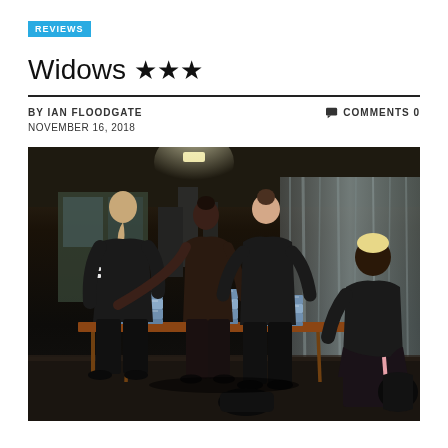REVIEWS
Widows ★★★
BY IAN FLOODGATE   COMMENTS 0
NOVEMBER 16, 2018
[Figure (photo): Four women dressed in black standing around a table with stacks of money in a dark warehouse/industrial setting. One woman with blonde hair sits to the right.]